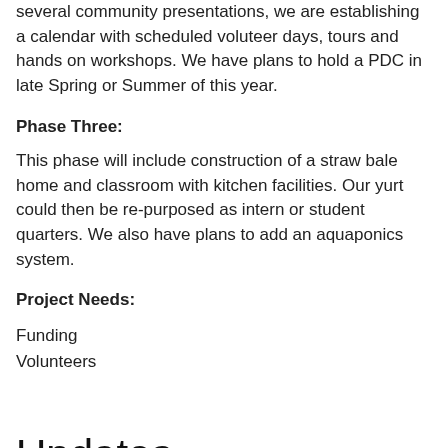several community presentations, we are establishing a calendar with scheduled voluteer days, tours and hands on workshops. We have plans to hold a PDC in late Spring or Summer of this year.
Phase Three:
This phase will include construction of a straw bale home and classroom with kitchen facilities. Our yurt could then be re-purposed as intern or student quarters. We also have plans to add an aquaponics system.
Project Needs:
Funding
Volunteers
Updates